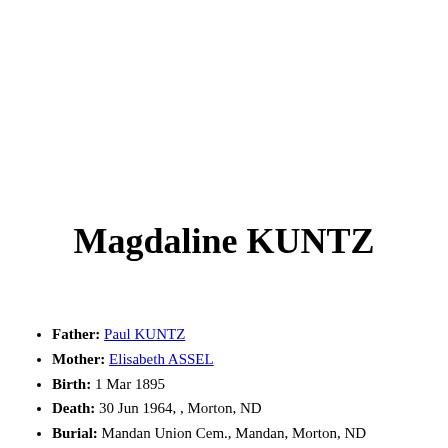Magdaline KUNTZ
Father: Paul KUNTZ
Mother: Elisabeth ASSEL
Birth: 1 Mar 1895
Death: 30 Jun 1964, , Morton, ND
Burial: Mandan Union Cem., Mandan, Morton, ND